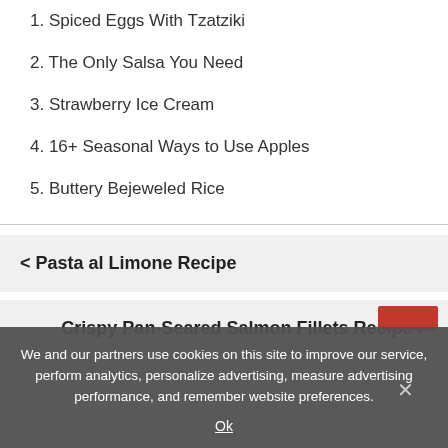1. Spiced Eggs With Tzatziki
2. The Only Salsa You Need
3. Strawberry Ice Cream
4. 16+ Seasonal Ways to Use Apples
5. Buttery Bejeweled Rice
< Pasta al Limone Recipe
Crispy Pan-Seared Salmon Fillets Recipe >
We and our partners use cookies on this site to improve our service, perform analytics, personalize advertising, measure advertising performance, and remember website preferences.
Ok